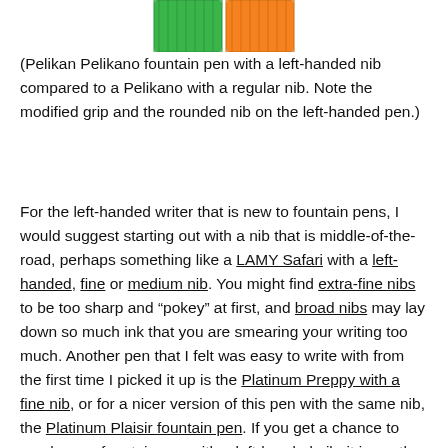[Figure (photo): Top portion of two fountain pens side by side — one green and one orange — showing the cap/barrel tops with visible ridged grip sections.]
(Pelikan Pelikano fountain pen with a left-handed nib compared to a Pelikano with a regular nib. Note the modified grip and the rounded nib on the left-handed pen.)
For the left-handed writer that is new to fountain pens, I would suggest starting out with a nib that is middle-of-the-road, perhaps something like a LAMY Safari with a left-handed, fine or medium nib. You might find extra-fine nibs to be too sharp and "pokey" at first, and broad nibs may lay down so much ink that you are smearing your writing too much. Another pen that I felt was easy to write with from the first time I picked it up is the Platinum Preppy with a fine nib, or for a nicer version of this pen with the same nib, the Platinum Plaisir fountain pen. If you get a chance to purchase a fountain pen with a left-handed nib, it is worth giving it a try. The Pelikan Pelikano